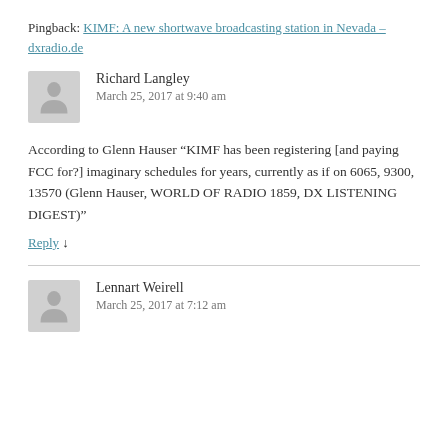Pingback: KIMF: A new shortwave broadcasting station in Nevada – dxradio.de
Richard Langley
March 25, 2017 at 9:40 am
According to Glenn Hauser “KIMF has been registering [and paying FCC for?] imaginary schedules for years, currently as if on 6065, 9300, 13570 (Glenn Hauser, WORLD OF RADIO 1859, DX LISTENING DIGEST)”
Reply ↓
Lennart Weirell
March 25, 2017 at 7:12 am